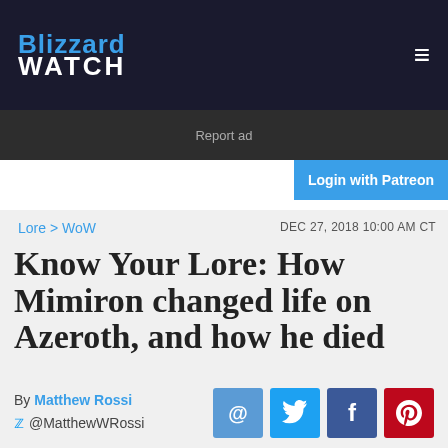Blizzard WATCH
Report ad
Login with Patreon
Lore > WoW  DEC 27, 2018 10:00 AM CT
Know Your Lore: How Mimiron changed life on Azeroth, and how he died
By Matthew Rossi @MatthewWRossi
[Figure (photo): Dark image of a fantasy character/boss head with glowing green eyes and horns, from World of Warcraft]